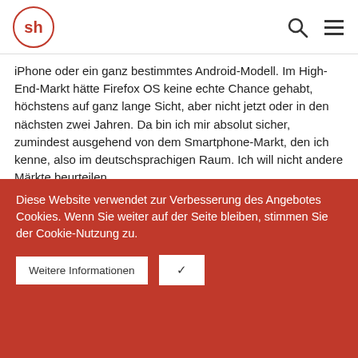sh [logo]
iPhone oder ein ganz bestimmtes Android-Modell. Im High-End-Markt hätte Firefox OS keine echte Chance gehabt, höchstens auf ganz lange Sicht, aber nicht jetzt oder in den nächsten zwei Jahren. Da bin ich mir absolut sicher, zumindest ausgehend von dem Smartphone-Markt, den ich kenne, also im deutschsprachigen Raum. Ich will nicht andere Märkte beurteilen.
Und von daher wird dann der Absatz schwierig, zumal bei dermaßen schlechten Bildschirmauflösungen bei den verfügbaren Geräten. So etwas färbt immer auf das System
Diese Website verwendet zur Verbesserung des Angebotes Cookies. Wenn Sie weiter auf der Seite bleiben, stimmen Sie der Cookie-Nutzung zu.
Weitere Informationen
✔